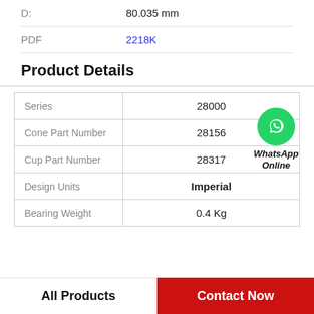D: 80.035 mm
PDF 2218K
Product Details
|  |  |
| --- | --- |
| Series | 28000 |
| Cone Part Number | 28156 |
| Cup Part Number | 28317 |
| Design Units | Imperial |
| Bearing Weight | 0.4 Kg |
[Figure (logo): WhatsApp Online contact button with green phone icon and text 'WhatsApp Online']
All Products
Contact Now